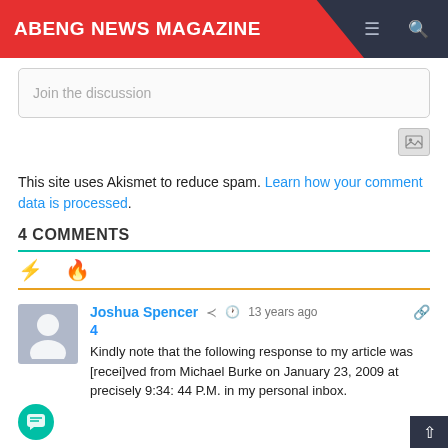ABENG NEWS MAGAZINE
Join the discussion
This site uses Akismet to reduce spam. Learn how your comment data is processed.
4 COMMENTS
Joshua Spencer  13 years ago
4
Kindly note that the following response to my article was [recei]ved from Michael Burke on January 23, 2009 at precisely 9:34: 44 P.M. in my personal inbox.